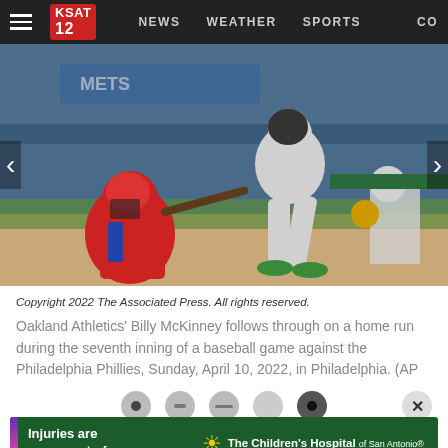KSAT 12 | NEWS | WEATHER | SPORTS | CO...
[Figure (photo): Baseball game photo: Oakland Athletics batter following through on a home run swing, with a Philadelphia Phillies catcher in red gear crouching behind home plate. Stadium crowd in background.]
Copyright 2022 The Associated Press. All rights reserved.
Oakland Athletics' Billy McKinney follows through on a home run during the seventh inning of a baseball game against the Philadelphia Phillies, Sunday, April 10, 2022, in Philadelphia. (AP Photo/Laurence Kesterson)
[Figure (other): Slideshow navigation dots and close button]
[Figure (other): Advertisement banner: The Children's Hospital of San Antonio - CHRISTUS Health. Text: Injuries are never part of your game plan.]